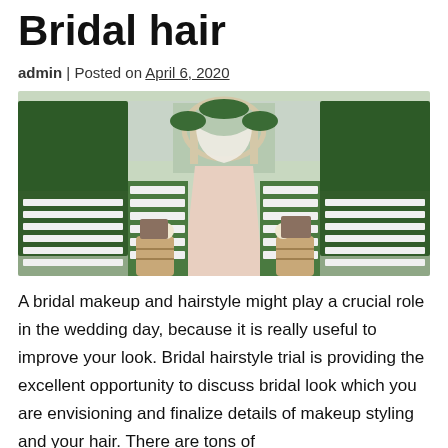Bridal hair
admin | Posted on April 6, 2020
[Figure (photo): Outdoor wedding venue with white chairs arranged along a central aisle leading to a floral arch, flanked by tall green hedges and wooden barrel decorations.]
A bridal makeup and hairstyle might play a crucial role in the wedding day, because it is really useful to improve your look. Bridal hairstyle trial is providing the excellent opportunity to discuss bridal look which you are envisioning and finalize details of makeup styling and your hair. There are tons of